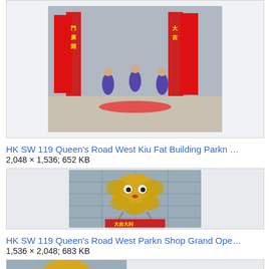[Figure (photo): Photo of lion dance performers with red banners during a grand opening ceremony, people in purple costumes on the street.]
HK SW 119 Queen's Road West Kiu Fat Building Parkn …
2,048 × 1,536; 652 KB
[Figure (photo): Close-up photo of a golden lion dance head prop held up on poles against a building background with red banners visible below.]
HK SW 119 Queen's Road West Parkn Shop Grand Ope…
1,536 × 2,048; 683 KB
[Figure (photo): Partial photo showing another golden lion dance prop, cropped at bottom of page.]